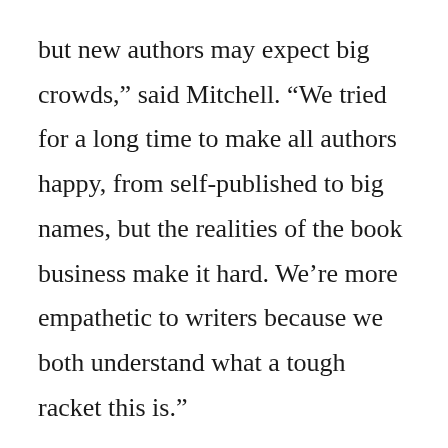but new authors may expect big crowds,” said Mitchell. “We tried for a long time to make all authors happy, from self-published to big names, but the realities of the book business make it hard. We’re more empathetic to writers because we both understand what a tough racket this is.”
The store has been getting noticed far and wide. “We were in Time magazine, the centerfold actually,” said Lampkin. “Lev Grossman did an article on independent